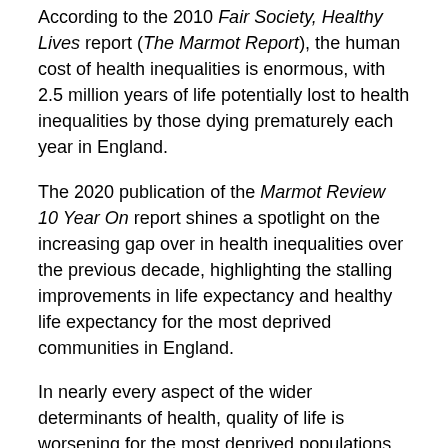According to the 2010 Fair Society, Healthy Lives report (The Marmot Report), the human cost of health inequalities is enormous, with 2.5 million years of life potentially lost to health inequalities by those dying prematurely each year in England.
The 2020 publication of the Marmot Review 10 Year On report shines a spotlight on the increasing gap over in health inequalities over the previous decade, highlighting the stalling improvements in life expectancy and healthy life expectancy for the most deprived communities in England.
In nearly every aspect of the wider determinants of health, quality of life is worsening for the most deprived populations of England. Average life expectancy for those living in the most deprived areas of England are 9.5 years less for men and 7.7 years less for women than those living in the least deprived areas.